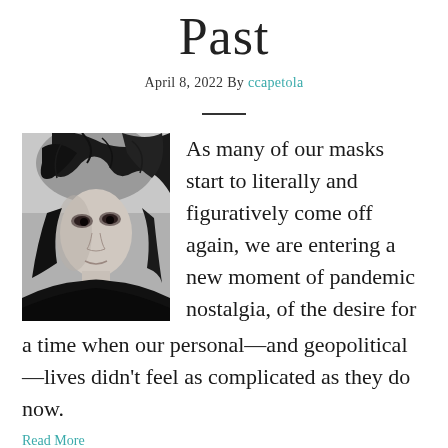Past
April 8, 2022 By ccapetola
[Figure (photo): Black and white photo of a young woman with dark windswept hair, wearing a dark top, looking intensely at the camera]
As many of our masks start to literally and figuratively come off again, we are entering a new moment of pandemic nostalgia, of the desire for a time when our personal—and geopolitical—lives didn't feel as complicated as they do now.
Read More